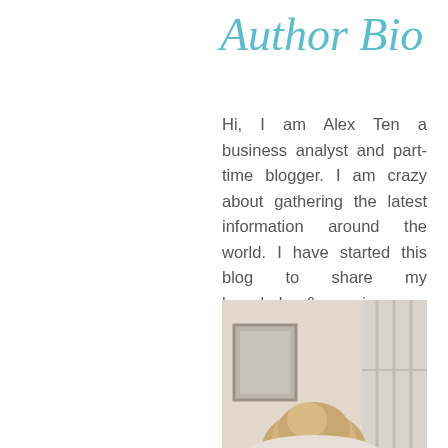Author Bio
Hi, I am Alex Ten a business analyst and part-time blogger. I am crazy about gathering the latest information around the world. I have started this blog to share my knowledge & experience.
[Figure (photo): A photo of a person (woman with blonde hair) in an indoor setting, partially visible from behind/side, with a window and framed picture visible in the background.]